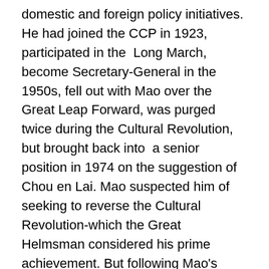domestic and foreign policy initiatives. He had joined the CCP in 1923, participated in the Long March, become Secretary-General in the 1950s, fell out with Mao over the Great Leap Forward, was purged twice during the Cultural Revolution, but brought back into a senior position in 1974 on the suggestion of Chou en Lai. Mao suspected him of seeking to reverse the Cultural Revolution-which the Great Helmsman considered his prime achievement. But following Mao's death in 1976, he outmanoeuvred Mao's chosen heir, Hua Guofeng. Initially reforms stressed mixing western managerialism and state planning in a self-sufficient economy. As the leadership stepped up the pace of reform and opened the economy to imports of machinery and technology from the advanced industrial countries, official descriptions of the Chinese economic system evolved. In 1978, Mao's leaps towards socialism